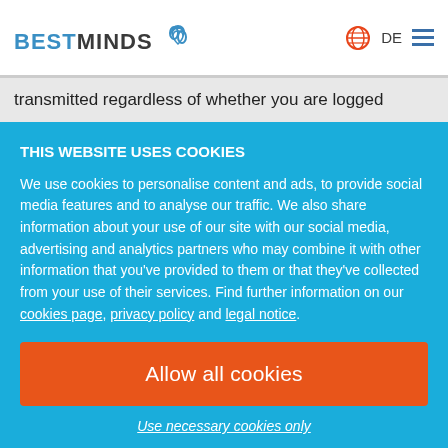BESTMINDS [logo] DE [menu]
transmitted regardless of whether you are logged
THIS WEBSITE USES COOKIES
We use cookies to personalise content and ads, to provide social media features and to analyse our traffic. We also share information about your use of our site with our social media, advertising and analytics partners who may combine it with other information that you've provided to them or that they've collected from your use of their services. Find further information on our cookies page, privacy policy and legal notice.
Allow all cookies
Use necessary cookies only